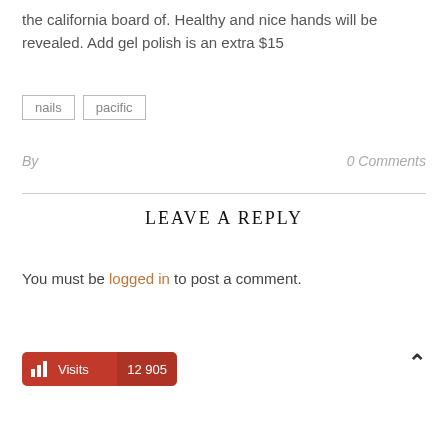the california board of. Healthy and nice hands will be revealed. Add gel polish is an extra $15
nails
pacific
By
0 Comments
LEAVE A REPLY
You must be logged in to post a comment.
Visits  12 905